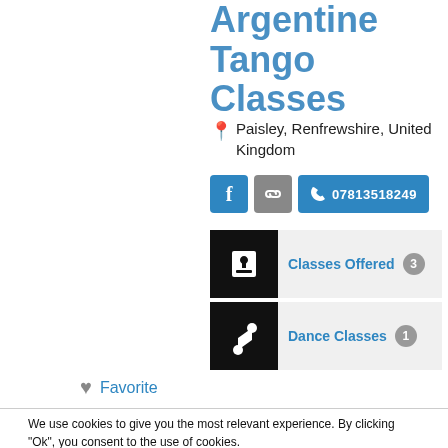Argentine Tango Classes
📍 Paisley, Renfrewshire, United Kingdom
[Figure (infographic): Social buttons: Facebook, link, and phone number 07813518249]
[Figure (infographic): Classes Offered card with heart/book icon and badge showing 3]
[Figure (infographic): Dance Classes card with music note icon and badge showing 1]
♥ Favorite
We use cookies to give you the most relevant experience. By clicking "Ok", you consent to the use of cookies.
Cookie Settings  Ok